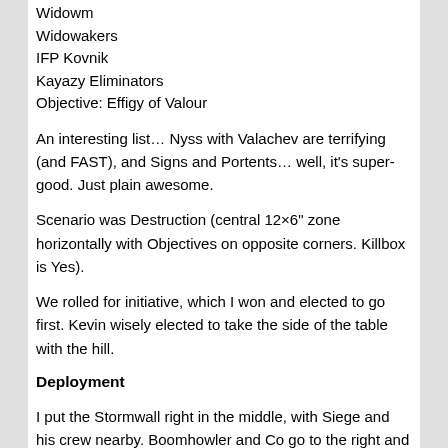Widowm
Widowakers
IFP Kovnik
Kayazy Eliminators
Objective: Effigy of Valour
An interesting list… Nyss with Valachev are terrifying (and FAST), and Signs and Portents… well, it's super-good. Just plain awesome.
Scenario was Destruction (central 12×6" zone horizontally with Objectives on opposite corners. Killbox is Yes).
We rolled for initiative, which I won and elected to go first. Kevin wisely elected to take the side of the table with the hill.
Deployment
I put the Stormwall right in the middle, with Siege and his crew nearby. Boomhowler and Co go to the right and in front of the Stormwall, while the ATCM go to the left.